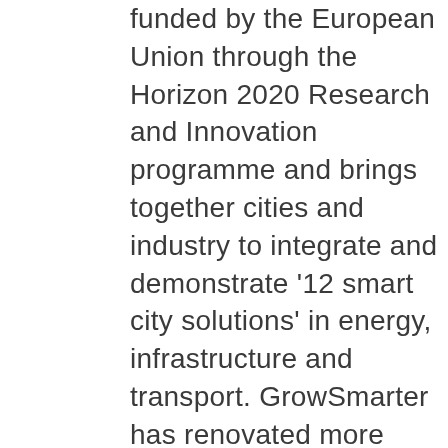funded by the European Union through the Horizon 2020 Research and Innovation programme and brings together cities and industry to integrate and demonstrate '12 smart city solutions' in energy, infrastructure and transport. GrowSmarter has renovated more than 130,000 m2 of building stock with energy efficiency and smart technologies, has deployed sustainable mobility solutions, and much more to improve